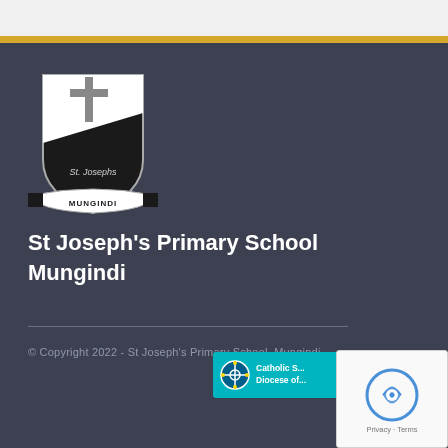[Figure (logo): St Joseph's Primary School Mungindi shield crest logo in black and white with a cross and school name banner]
St Joseph's Primary School Mungindi
© Copyright 2022 - St Joseph's Primary School, Mungindi
[Figure (logo): Catholic Schools Diocese of Armidale badge in teal/cyan color]
[Figure (other): Google reCAPTCHA widget showing Privacy - Terms links]